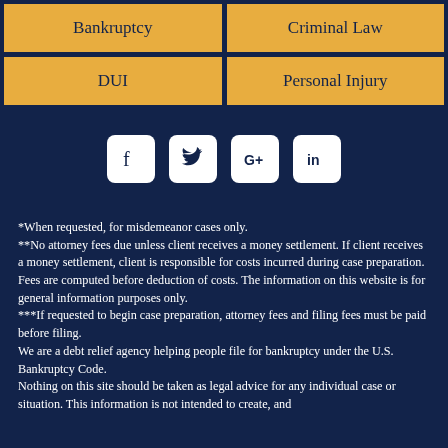| Bankruptcy | Criminal Law |
| --- | --- |
| DUI | Personal Injury |
[Figure (infographic): Four social media icons in white rounded squares: Facebook, Twitter, Google+, LinkedIn]
*When requested, for misdemeanor cases only.
**No attorney fees due unless client receives a money settlement. If client receives a money settlement, client is responsible for costs incurred during case preparation. Fees are computed before deduction of costs. The information on this website is for general information purposes only.
***If requested to begin case preparation, attorney fees and filing fees must be paid before filing.
We are a debt relief agency helping people file for bankruptcy under the U.S. Bankruptcy Code.
Nothing on this site should be taken as legal advice for any individual case or situation. This information is not intended to create, and